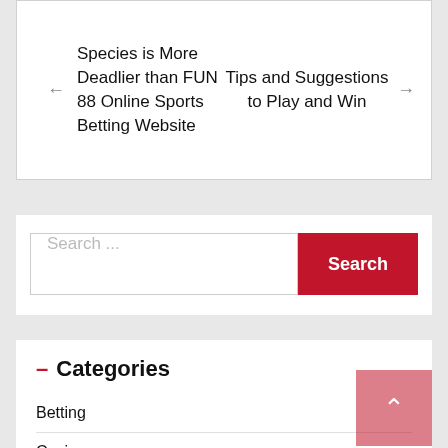← Species is More Deadlier than FUN 88 Online Sports Betting Website
Tips and Suggestions to Play and Win →
Search ...
Search
– Categories
Betting
Casino